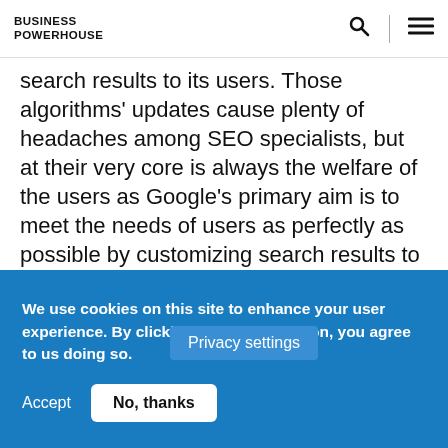BUSINESS POWERHOUSE
search results to its users. Those algorithms' updates cause plenty of headaches among SEO specialists, but at their very core is always the welfare of the users as Google's primary aim is to meet the needs of users as perfectly as possible by customizing search results to provide perfectly relevant and well-matched information.
With that in mind, leaders should follow suit Google founders by constantly reassessing how they can improve their services or products and try to foresee wha[t] customers expect
Privacy settings
We use cookies on this site to enhance your user experience. By clicking the Accept button, you agree to us doing so.
Accept
No, thanks